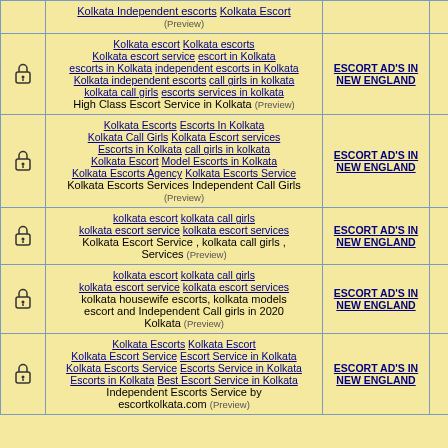|  | Links | Category | Count |
| --- | --- | --- | --- |
| [lock] | Kolkata Independent escorts Kolkata Escort (Preview) | — | — |
| [lock] | Kolkata escort Kolkata escorts Kolkata escort service escort in Kolkata escorts in Kolkata independent escorts in Kolkata Kolkata independent escorts call girls in kolkata kolkata call girls escorts services in kolkata High Class Escort Service in Kolkata (Preview) | ESCORT AD'S IN NEW ENGLAND | 2 |
| [lock] | Kolkata Escorts Escorts In Kolkata Kolkata Call Girls Kolkata Escort services Escorts in Kolkata call girls in kolkata Kolkata Escort Model Escorts in Kolkata Kolkata Escorts Agency Kolkata Escorts Service Kolkata Escorts Services Independent Call Girls (Preview) | ESCORT AD'S IN NEW ENGLAND | 1 |
| [lock] | kolkata escort kolkata call girls kolkata escort service kolkata escort services Kolkata Escort Service , kolkata call girls , Services (Preview) | ESCORT AD'S IN NEW ENGLAND | 0 |
| [lock] | kolkata escort kolkata call girls kolkata escort service kolkata escort services kolkata housewife escorts, kolkata models escort and Independent Call girls in 2020 Kolkata (Preview) | ESCORT AD'S IN NEW ENGLAND | 0 |
| [lock] | Kolkata Escorts Kolkata Escort Kolkata Escort Service Escort Service in Kolkata Kolkata Escorts Service Escorts Service in Kolkata Escorts in Kolkata Best Escort Service in Kolkata Independent Escorts Service by escortkolkata.com (Preview) | ESCORT AD'S IN NEW ENGLAND | 0 |